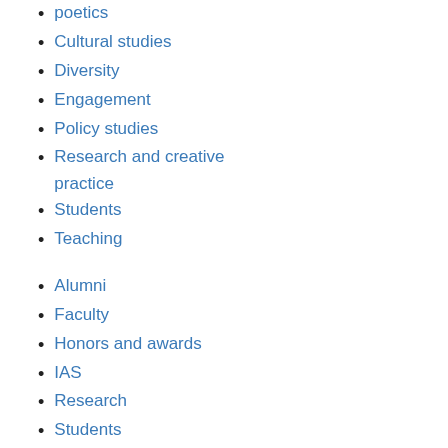poetics
Cultural studies
Diversity
Engagement
Policy studies
Research and creative practice
Students
Teaching
Alumni
Faculty
Honors and awards
IAS
Research
Students
10/27/2015
Laura Harkewicz Tra... a Creative Nonfiction... Hydrogen Bomb Tes...
IAS faculty member Laura ... creative nonfiction project ... Philosophy of Science Workshop.
Read more
10/27/2015
Amaranth Borsuk Sp... Screens Videopoetry...
IAS faculty member Amara... symposium Máquinas de I... Mexico City. Borsuk also screened...